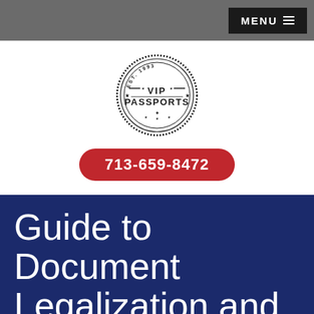MENU
[Figure (logo): VIP Passports circular stamp logo, EST. 1993]
713-659-8472
Guide to Document Legalization and